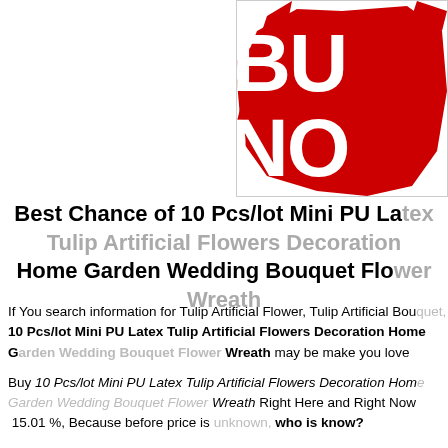[Figure (logo): Red 'BUY NOW' button/badge graphic with white text on red splash/burst background, top-right corner]
Best Chance of 10 Pcs/lot Mini PU Latex Tulip Artificial Flowers Decoration Home Garden Wedding Bouquet Flower Wreath
If You search information for Tulip Artificial Flower, Tulip Artificial Bouquet, ... 10 Pcs/lot Mini PU Latex Tulip Artificial Flowers Decoration Home Garden Wedding Bouquet Flower Wreath may be make you love
Buy 10 Pcs/lot Mini PU Latex Tulip Artificial Flowers Decoration Home Garden Wedding Bouquet Flower Wreath Right Here and Right Now 15.01 %, Because before price is who is know?
If You Buy it Now, You will save USD 1.8 , This offer stiil valid for 445 days Thu, 11 Mar 2021 06:45:14 +0000, After Expired at Thu, 11 Mar 2021 ... before Thu, 11 Mar 2021 06:45:14 +0000, we all dont know the Future...